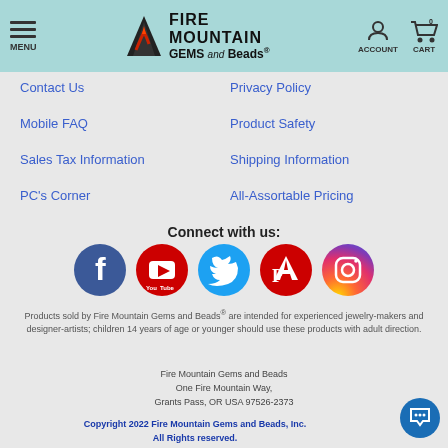MENU | FIRE MOUNTAIN GEMS and Beads® | ACCOUNT | CART 0
Contact Us
Privacy Policy
Mobile FAQ
Product Safety
Sales Tax Information
Shipping Information
PC's Corner
All-Assortable Pricing
Connect with us:
[Figure (infographic): Row of five social media icons: Facebook (blue), YouTube (red), Twitter (cyan/blue), Pinterest (red), Instagram (purple gradient)]
Products sold by Fire Mountain Gems and Beads® are intended for experienced jewelry-makers and designer-artists; children 14 years of age or younger should use these products with adult direction.
Fire Mountain Gems and Beads
One Fire Mountain Way,
Grants Pass, OR USA 97526-2373
Copyright 2022 Fire Mountain Gems and Beads, Inc.
All Rights reserved.